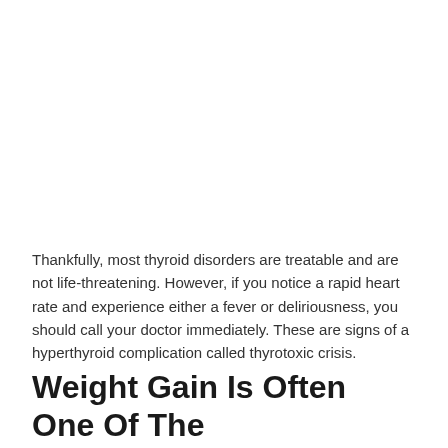Thankfully, most thyroid disorders are treatable and are not life-threatening. However, if you notice a rapid heart rate and experience either a fever or deliriousness, you should call your doctor immediately. These are signs of a hyperthyroid complication called thyrotoxic crisis.
Weight Gain Is Often One Of The First Signs Of Hypothyroidis...